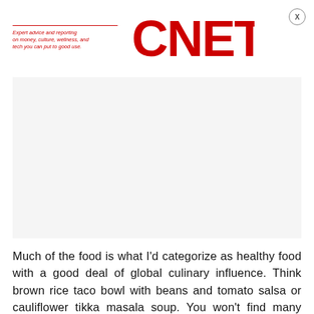[Figure (logo): CNET logo with red text and tagline 'Expert advice and reporting on money, culture, wellness, and tech you can put to good use.']
[Figure (other): Gray advertisement placeholder box]
Much of the food is what I'd categorize as healthy food with a good deal of global culinary influence. Think brown rice taco bowl with beans and tomato salsa or cauliflower tikka masala soup. You won't find many soy-based meat substitutes; these are mostly